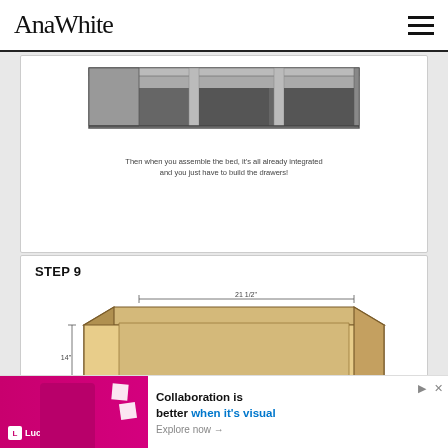AnaWhite
[Figure (illustration): Isometric 3D diagram of a bed frame showing integrated drawer dividers/compartments]
Then when you assemble the bed, it's all already integrated and you just have to build the drawers!
Now add tops and bottoms to the dividers ...
STEP 9
[Figure (engineering-diagram): Technical drawing of a drawer box showing dimensions: 21 1/2" width, 14" depth, with note about 1/4" plywood on bottom]
[Figure (illustration): Lucid advertisement banner - Collaboration is better when it's visual. Explore now.]